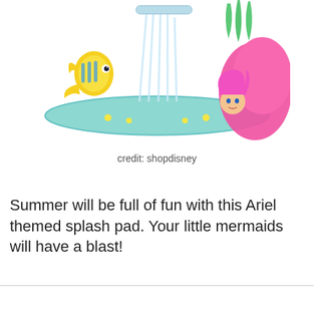[Figure (photo): Little Mermaid Ariel themed inflatable splash pad toy with Flounder character and water spray feature, pink mermaid tail visible on the right side]
credit: shopdisney
Summer will be full of fun with this Ariel themed splash pad. Your little mermaids will have a blast!